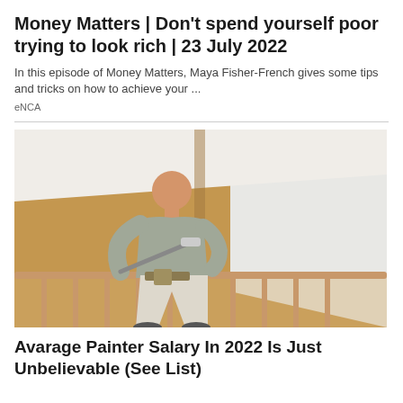Money Matters | Don't spend yourself poor trying to look rich | 23 July 2022
In this episode of Money Matters, Maya Fisher-French gives some tips and tricks on how to achieve your ...
eNCA
[Figure (photo): A man painting a wall with a roller, painting room walls from tan/brown to white, viewed from behind, wearing grey shirt and white pants]
Avarage Painter Salary In 2022 Is Just Unbelievable (See List)